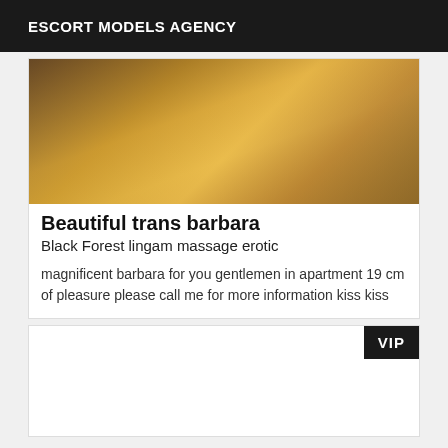ESCORT MODELS AGENCY
[Figure (photo): Photo of a person in a yellow outfit, cropped to show torso and arms]
Beautiful trans barbara
Black Forest lingam massage erotic
magnificent barbara for you gentlemen in apartment 19 cm of pleasure please call me for more information kiss kiss
[Figure (photo): Partially visible card with VIP badge in top right corner]